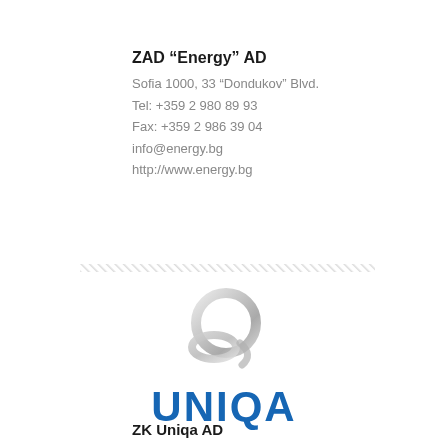ZAD “Energy” AD
Sofia 1000, 33 “Dondukov” Blvd.
Tel: +359 2 980 89 93
Fax: +359 2 986 39 04
info@energy.bg
http://www.energy.bg
[Figure (other): Decorative hatched diagonal-line divider bar]
[Figure (logo): UNIQA logo: stylized interlocking rings in silver/grey metallic above the UNIQA wordmark in blue]
ZK Uniqa AD